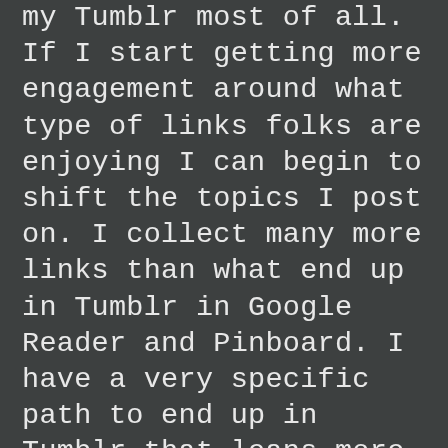my Tumblr most of all. If I start getting more engagement around what type of links folks are enjoying I can begin to shift the topics I post on. I collect many more links than what end up in Tumblr in Google Reader and Pinboard. I have a very specific path to end up in Tumblr that leans more towards long reads and shares from friends and not what I am watching on RSS.

A few months ago I ditched my original Facebook account from 2005 and reopened a